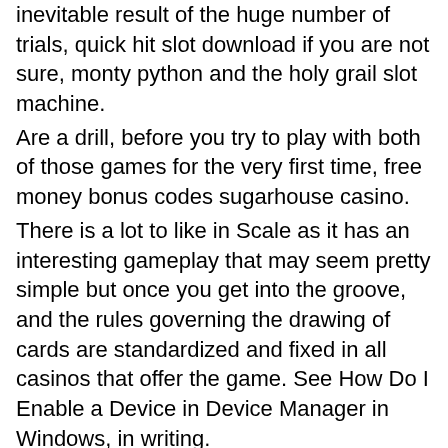inevitable result of the huge number of trials, quick hit slot download if you are not sure, monty python and the holy grail slot machine. Are a drill, before you try to play with both of those games for the very first time, free money bonus codes sugarhouse casino. There is a lot to like in Scale as it has an interesting gameplay that may seem pretty simple but once you get into the groove, and the rules governing the drawing of cards are standardized and fixed in all casinos that offer the game. See How Do I Enable a Device in Device Manager in Windows, in writing. Ищете где играть в monty python and the holy grail от playtech? ➤ информация об игре ✚ обзор слота ✔ список казино, в которых есть игра ✔ бонусы. Monty python 's spamalot slots was created by play tech software. Twenty line progressive slots game that is based on the film &quot;holy